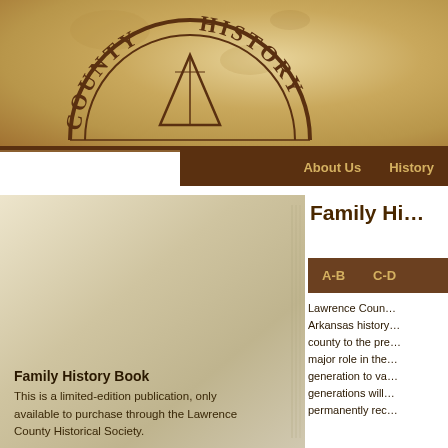[Figure (logo): Lawrence County Historical Society logo — semicircular badge with text 'COUNTY HISTORY' and a tent/teepee illustration, on aged parchment background]
About Us   History
[Figure (photo): Cover of the Family History Book — beige/tan aged book cover]
Family Hi…
A-B   C-D
Lawrence Coun… Arkansas history… county to the pre… major role in the… generation to va… generations will… permanently rec…
Family History Book
This is a limited-edition publication, only available to purchase through the Lawrence County Historical Society.